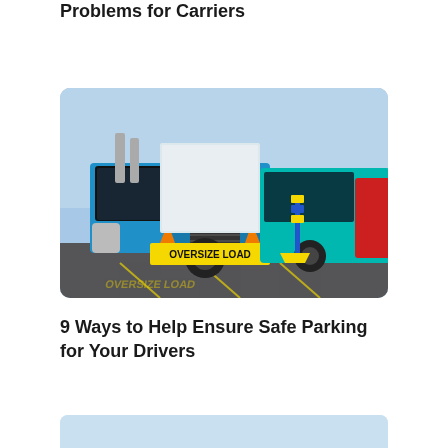Problems for Carriers
[Figure (photo): Blue semi-truck with 'OVERSIZE LOAD' banner parked in a lot, with orange safety cones and a blue pole marker. Another teal truck visible in background.]
9 Ways to Help Ensure Safe Parking for Your Drivers
[Figure (photo): Partial view of another article image — light blue background, partially visible at bottom of page.]